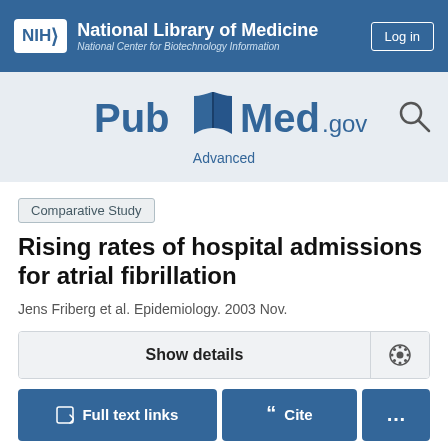NIH National Library of Medicine National Center for Biotechnology Information
[Figure (logo): PubMed.gov logo with open book graphic]
Advanced
Comparative Study
Rising rates of hospital admissions for atrial fibrillation
Jens Friberg et al. Epidemiology. 2003 Nov.
Show details
Full text links
Cite